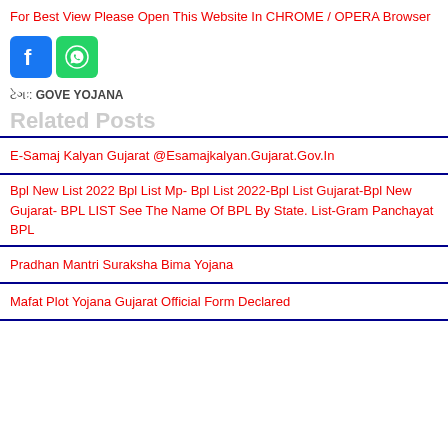For Best View Please Open This Website In CHROME / OPERA Browser
[Figure (illustration): Facebook and WhatsApp social media icons side by side]
ટેગ: GOVE YOJANA
Related Posts
E-Samaj Kalyan Gujarat @Esamajkalyan.Gujarat.Gov.In
Bpl New List 2022 Bpl List Mp- Bpl List 2022-Bpl List Gujarat-Bpl New Gujarat- BPL LIST See The Name Of BPL By State. List-Gram Panchayat BPL
Pradhan Mantri Suraksha Bima Yojana
Mafat Plot Yojana Gujarat Official Form Declared